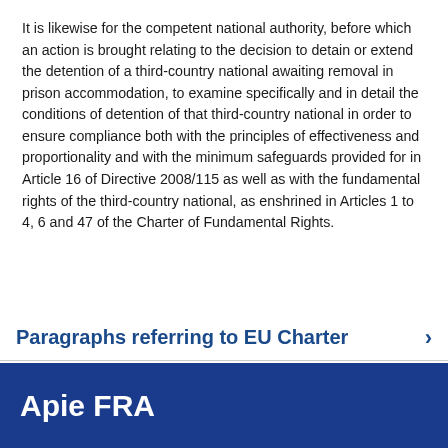It is likewise for the competent national authority, before which an action is brought relating to the decision to detain or extend the detention of a third-country national awaiting removal in prison accommodation, to examine specifically and in detail the conditions of detention of that third-country national in order to ensure compliance both with the principles of effectiveness and proportionality and with the minimum safeguards provided for in Article 16 of Directive 2008/115 as well as with the fundamental rights of the third-country national, as enshrined in Articles 1 to 4, 6 and 47 of the Charter of Fundamental Rights.
Paragraphs referring to EU Charter >
Apie FRA